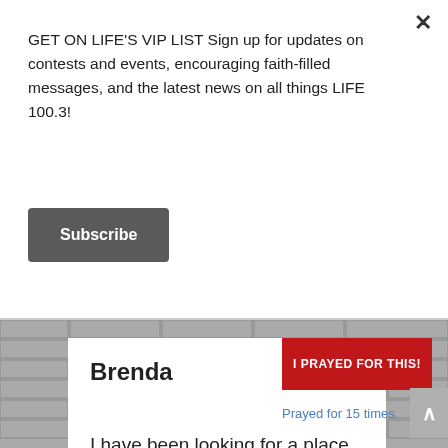GET ON LIFE'S VIP LIST Sign up for updates on contests and events, encouraging faith-filled messages, and the latest news on all things LIFE 100.3!
Subscribe
[Figure (screenshot): Brick wall background with white card showing prayer request from Brenda]
Brenda
I PRAYED FOR THIS!
Prayed for 15 times.
I have been looking for a place to live that is less expensive. Recently I lost $1100.00/month in income due to a death. So where I am living right now is too expensive. I pray that God will help me find a good safe place to live that I can afford.